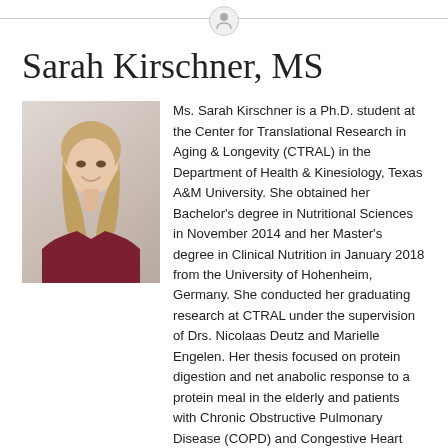Sarah Kirschner, MS
[Figure (photo): Headshot photo of Sarah Kirschner, a young woman with long blonde hair wearing a dark red/maroon shirt, smiling, against a light background.]
Ms. Sarah Kirschner is a Ph.D. student at the Center for Translational Research in Aging & Longevity (CTRAL) in the Department of Health & Kinesiology, Texas A&M University. She obtained her Bachelor's degree in Nutritional Sciences in November 2014 and her Master's degree in Clinical Nutrition in January 2018 from the University of Hohenheim, Germany. She conducted her graduating research at CTRAL under the supervision of Drs. Nicolaas Deutz and Marielle Engelen. Her thesis focused on protein digestion and net anabolic response to a protein meal in the elderly and patients with Chronic Obstructive Pulmonary Disease (COPD) and Congestive Heart Failure, and on the development of a stable tracer method to measure short-chain fatty acid (SCFA) metabolism. In her doctoral research, Sarah will investigate SCFA and fiber metabolism in COPD patients as well as SCFA metabolism and flux measurements during sepsis in a pig model.